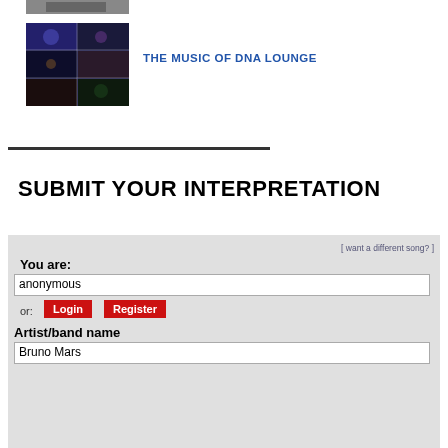[Figure (photo): Partial cropped photo at top, dark image]
[Figure (photo): Grid collage of concert/music venue photos with dark blue and purple lighting]
THE MUSIC OF DNA LOUNGE
SUBMIT YOUR INTERPRETATION
[ want a different song? ]
You are:
anonymous
or: Login Register
Artist/band name
Bruno Mars